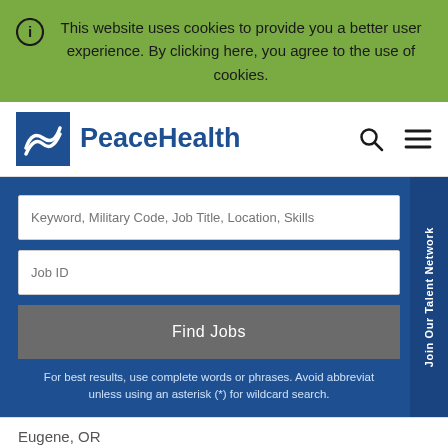This website uses cookies to provide you a better user experience. By clicking here, you agree to the use of cookies.
[Figure (logo): PeaceHealth logo with wave symbol in blue square and PeaceHealth text]
Keyword, Military Code, Job Title, Location, Skills
Job ID
Find Jobs
For best results, use complete words or phrases. Avoid abbreviat unless using an asterisk (*) for wildcard search.
Join Our Talent Network
Eugene, OR
RN Endoscopy Clinic - Endoscopy Outpatient Lab